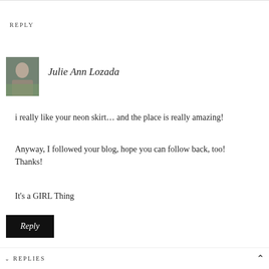REPLY
[Figure (photo): Avatar photo of Julie Ann Lozada, a woman in a floral dress outdoors]
Julie Ann Lozada
i really like your neon skirt... and the place is really amazing!
Anyway, I followed your blog, hope you can follow back, too! Thanks!
It’s a GIRL Thing
Reply
REPLIES